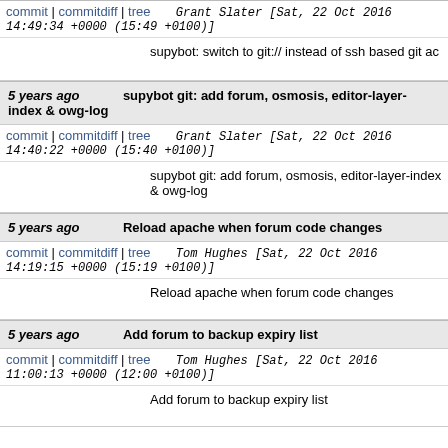commit | commitdiff | tree   Grant Slater [Sat, 22 Oct 2016 14:49:34 +0000 (15:49 +0100)]
supybot: switch to git:// instead of ssh based git ac
5 years ago   supybot git: add forum, osmosis, editor-layer-index & owg-log
commit | commitdiff | tree   Grant Slater [Sat, 22 Oct 2016 14:40:22 +0000 (15:40 +0100)]
supybot git: add forum, osmosis, editor-layer-index & owg-log
5 years ago   Reload apache when forum code changes
commit | commitdiff | tree   Tom Hughes [Sat, 22 Oct 2016 14:19:15 +0000 (15:19 +0100)]
Reload apache when forum code changes
5 years ago   Add forum to backup expiry list
commit | commitdiff | tree   Tom Hughes [Sat, 22 Oct 2016 11:00:13 +0000 (12:00 +0100)]
Add forum to backup expiry list